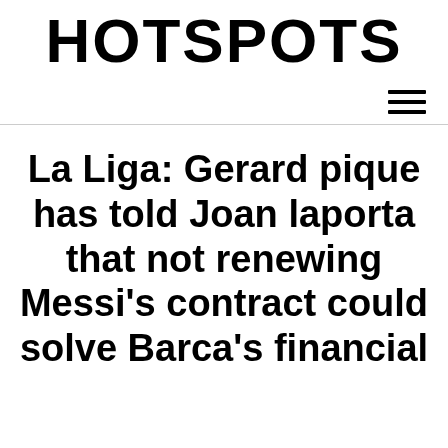HOTSPOTS
La Liga: Gerard pique has told Joan laporta that not renewing Messi's contract could solve Barca's financial